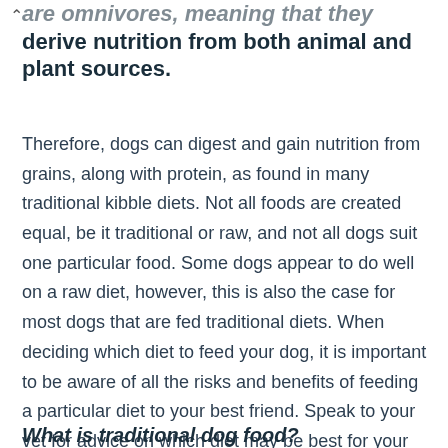…are omnivores, meaning that they derive nutrition from both animal and plant sources.
Therefore, dogs can digest and gain nutrition from grains, along with protein, as found in many traditional kibble diets. Not all foods are created equal, be it traditional or raw, and not all dogs suit one particular food. Some dogs appear to do well on a raw diet, however, this is also the case for most dogs that are fed traditional diets. When deciding which diet to feed your dog, it is important to be aware of all the risks and benefits of feeding a particular diet to your best friend. Speak to your vet for advice on which diet may be best for your dog and how to feed it safely.
What is traditional dog food?